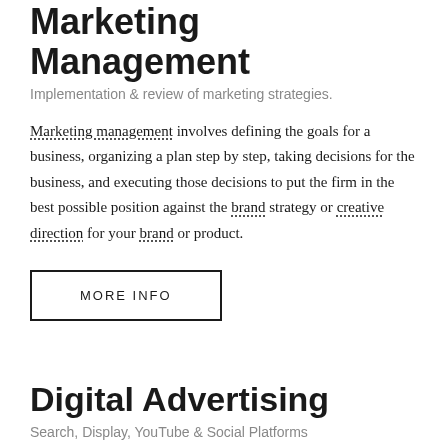Marketing Management
Implementation & review of marketing strategies.
Marketing management involves defining the goals for a business, organizing a plan step by step, taking decisions for the business, and executing those decisions to put the firm in the best possible position against the brand strategy or creative direction for your brand or product.
MORE INFO
Digital Advertising
Search, Display, YouTube & Social Platforms
Specifically targeted brand communication various platforms and digital channels, to promote your brand, prod-